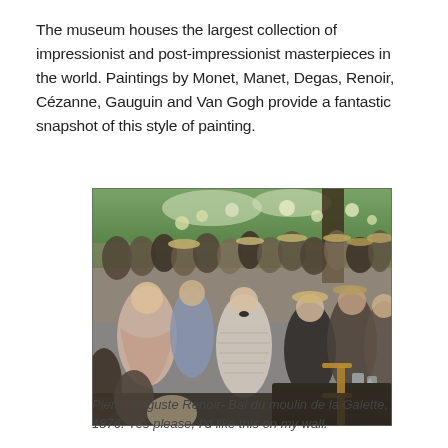The museum houses the largest collection of impressionist and post-impressionist masterpieces in the world. Paintings by Monet, Manet, Degas, Renoir, Cézanne, Gauguin and Van Gogh provide a fantastic snapshot of this style of painting.
[Figure (photo): Pierre-Auguste Renoir's Bal du moulin de la Galette (1876) — a lively outdoor scene of a crowded Parisian dance garden with men and women socializing, dancing, and sitting at tables, rendered in impressionist style with dappled light filtering through trees.]
Pierre-Auguste Renoir- Bal du moulin de la Galette, 1876. Yes please, I'd like this on my wall.